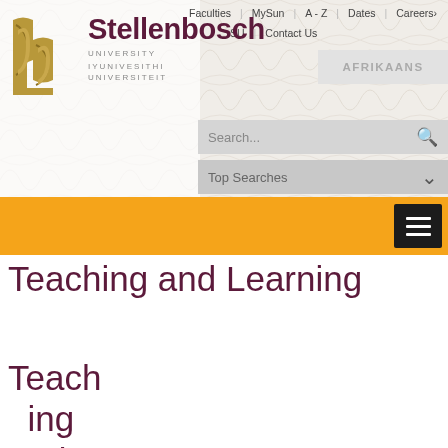[Figure (screenshot): Stellenbosch University website header with logo, navigation links (Faculties, MySun, A-Z, Dates, Careers, SU, Contact Us), AFRIKAANS language toggle, search bar, Top Searches dropdown, orange navigation bar with hamburger menu icon]
Teaching and Learning
Teaching and